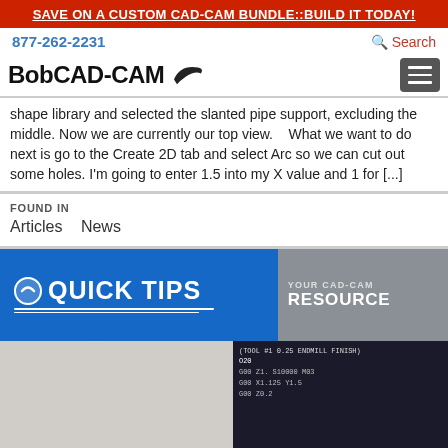SAVE ON A CUSTOM CAD-CAM BUNDLE::BUILD IT TODAY!
877-262-2231   Search
BobCAD-CAM
shape library and selected the slanted pipe support, excluding the middle. Now we are currently our top view.    What we want to do next is go to the Create 2D tab and select Arc so we can cut out some holes. I'm going to enter 1.5 into my X value and 1 for [...]
FOUND IN
Articles   News
[Figure (infographic): Quick Tips - Your CAD-CAM Resource banner with blue background and gray section]
[Figure (screenshot): CAD-CAM 3D milling visual with G-code panel showing tool paths and code lines including (TOOL #1 0.25 ENDMILL FINISH), O20, G00 Z1. S10000 M03, G00 X1.125 Y1.5, G00 Z0.2]